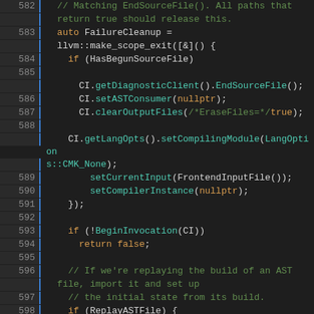[Figure (screenshot): Source code screenshot showing C++ code lines 582-605 with syntax highlighting. Dark background IDE/editor view with line numbers in gutter.]